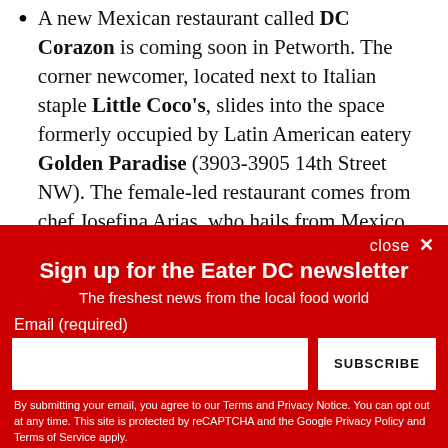A new Mexican restaurant called DC Corazon is coming soon in Petworth. The corner newcomer, located next to Italian staple Little Coco's, slides into the space formerly occupied by Latin American eatery Golden Paradise (3903-3905 14th Street NW). The female-led restaurant comes from chef Josefina Arias, who hails from Mexico City. The 68-seat restaurant, which has a
Sign up for the Eater DC newsletter
The freshest news from the local food world
Email (required)
SUBSCRIBE
By submitting your email, you agree to our Terms and Privacy Notice. You can opt out at any time. This site is protected by reCAPTCHA and the Google Privacy Policy and Terms of Service apply.